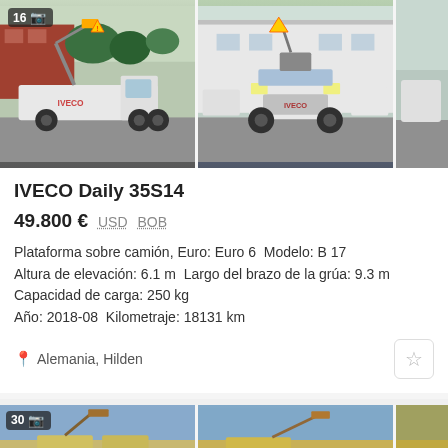[Figure (photo): Two photos of an IVECO Daily 35S14 truck with aerial platform, shown from side and front, parked in an industrial yard]
IVECO Daily 35S14
49.800 €  USD  BOB
Plataforma sobre camión, Euro: Euro 6  Modelo: B 17
Altura de elevación: 6.1 m  Largo del brazo de la grúa: 9.3 m
Capacidad de carga: 250 kg
Año: 2018-08  Kilometraje: 18131 km
Alemania, Hilden
[Figure (photo): Partial view of two more vehicle listings with cranes, shown at the bottom of the page]